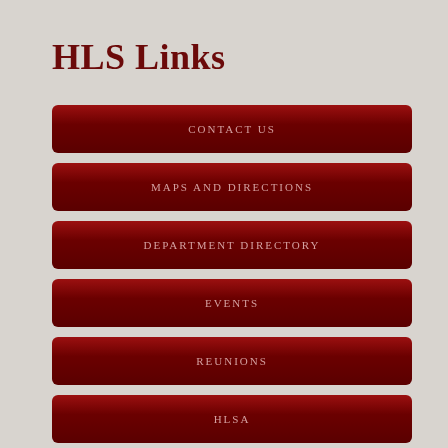HLS Links
CONTACT US
MAPS AND DIRECTIONS
DEPARTMENT DIRECTORY
EVENTS
REUNIONS
HLSA
GIVING TO HLS